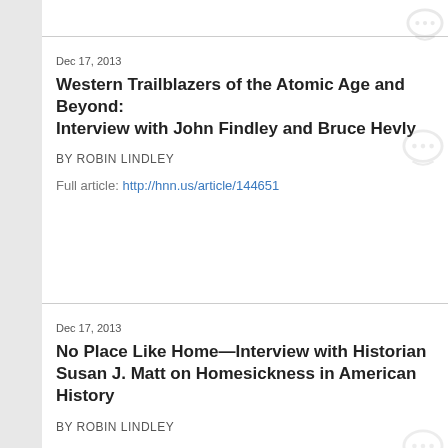Dec 17, 2013
Western Trailblazers of the Atomic Age and Beyond: Interview with John Findley and Bruce Hevly
BY ROBIN LINDLEY
Full article: http://hnn.us/article/144651
Dec 17, 2013
No Place Like Home—Interview with Historian Susan J. Matt on Homesickness in American History
BY ROBIN LINDLEY
Full article: http://hnn.us/article/144407